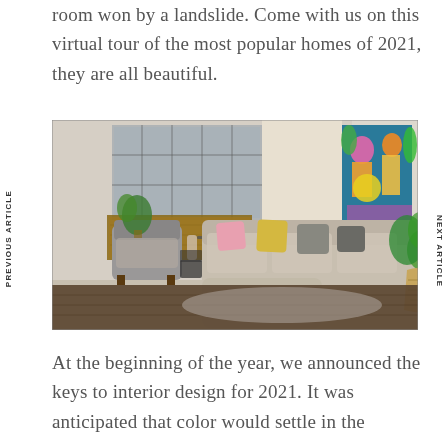room won by a landslide. Come with us on this virtual tour of the most popular homes of 2021, they are all beautiful.
[Figure (photo): Interior living room photo showing a modern apartment with a large L-shaped sofa, colorful abstract artwork on the wall, indoor plants, a wooden sideboard, an armchair, and a woven basket plant holder. Navigation labels 'PREVIOUS ARTICLE' and 'NEXT ARTICLE' appear on the sides.]
At the beginning of the year, we announced the keys to interior design for 2021. It was anticipated that color would settle in the